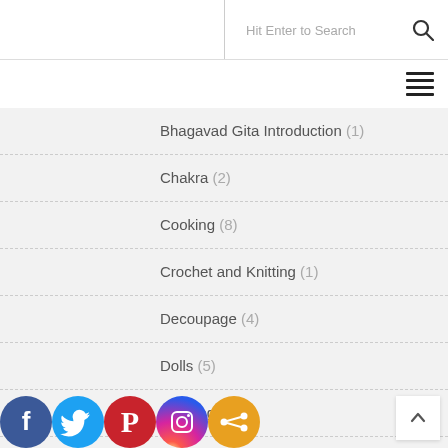Hit Enter to Search
Bhagavad Gita Introduction (1)
Chakra (2)
Cooking (8)
Crochet and Knitting (1)
Decoupage (4)
Dolls (5)
Drawing (4)
[Figure (infographic): Social media icons: Facebook (blue), Twitter (light blue), Pinterest (red), Instagram (gradient), Share (orange)]